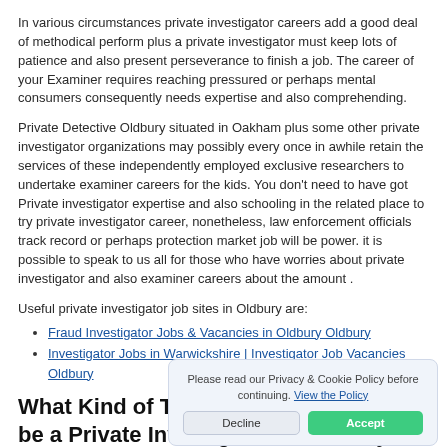In various circumstances private investigator careers add a good deal of methodical perform plus a private investigator must keep lots of patience and also present perseverance to finish a job. The career of your Examiner requires reaching pressured or perhaps mental consumers consequently needs expertise and also comprehending.
Private Detective Oldbury situated in Oakham plus some other private investigator organizations may possibly every once in awhile retain the services of these independently employed exclusive researchers to undertake examiner careers for the kids. You don't need to have got Private investigator expertise and also schooling in the related place to try private investigator career, nonetheless, law enforcement officials track record or perhaps protection market job will be power. it is possible to speak to us all for those who have worries about private investigator and also examiner careers about the amount .
Useful private investigator job sites in Oldbury are:
Fraud Investigator Jobs & Vacancies in Oldbury Oldbury
Investigator Jobs in Warwickshire | Investigator Job Vacancies Oldbury
What Kind of Training do You Need to be a Private Investigator In Oldbury?
Private Investigation Courses In Oldbury - S... investigator particularly for these without the ... via venture a program about private investiga... Oldbury inside Oakham are saved to the par... with City and Guilds detective coaching requirements.